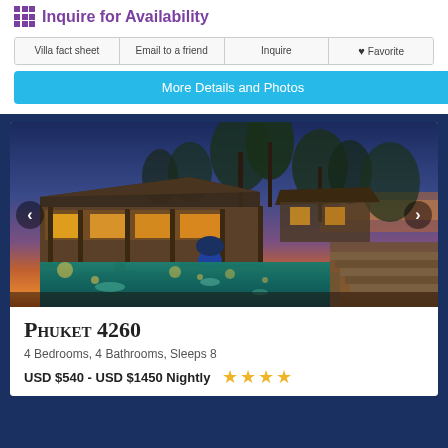Inquire for Availability
Villa fact sheet | Email to a friend | Inquire | ♥ Favorite
More Details and Photos
[Figure (photo): Luxury villa in Phuket at dusk with illuminated infinity pool, lounge chairs, tropical gardens, and a stunning sunset sky over the ocean in the background. Navigation arrows on left and right sides of photo.]
Phuket 4260
4 Bedrooms, 4 Bathrooms, Sleeps 8
USD $540 - USD $1450 Nightly ★★★★